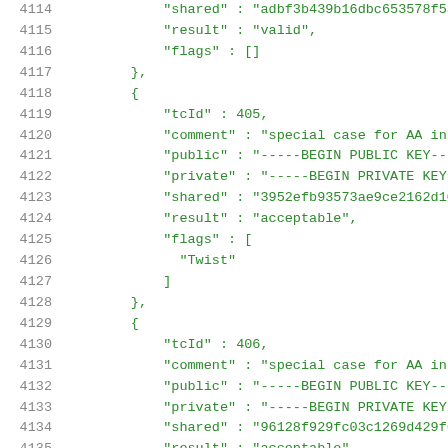Code listing lines 4114-4135 showing JSON test vector data with tcId, comment, public, private, shared, result, and flags fields for cryptographic test cases 405 and 406.